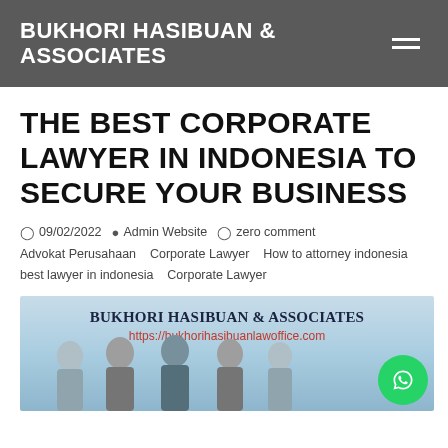BUKHORI HASIBUAN & ASSOCIATES
THE BEST CORPORATE LAWYER IN INDONESIA TO SECURE YOUR BUSINESS
09/02/2022  Admin Website  zero comment  Advokat Perusahaan  Corporate Lawyer  How to attorney indonesia  best lawyer in indonesia  Corporate Lawyer
[Figure (photo): Banner image showing Bukhori Hasibuan & Associates law firm with website URL https://bukhorihasibuanlawoffice.com and silhouettes of people, with WhatsApp button overlay]